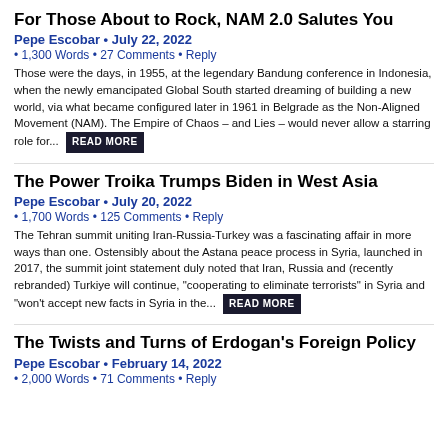For Those About to Rock, NAM 2.0 Salutes You
Pepe Escobar • July 22, 2022
• 1,300 Words • 27 Comments • Reply
Those were the days, in 1955, at the legendary Bandung conference in Indonesia, when the newly emancipated Global South started dreaming of building a new world, via what became configured later in 1961 in Belgrade as the Non-Aligned Movement (NAM). The Empire of Chaos – and Lies – would never allow a starring role for... READ MORE
The Power Troika Trumps Biden in West Asia
Pepe Escobar • July 20, 2022
• 1,700 Words • 125 Comments • Reply
The Tehran summit uniting Iran-Russia-Turkey was a fascinating affair in more ways than one. Ostensibly about the Astana peace process in Syria, launched in 2017, the summit joint statement duly noted that Iran, Russia and (recently rebranded) Turkiye will continue, "cooperating to eliminate terrorists" in Syria and "won't accept new facts in Syria in the... READ MORE
The Twists and Turns of Erdogan's Foreign Policy
Pepe Escobar • February 14, 2022
• 2,000 Words • 71 Comments • Reply